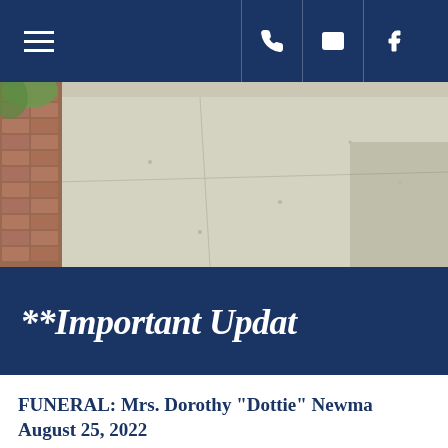Navigation bar with hamburger menu, phone, email, and Facebook icons
[Figure (photo): Outdoor photo showing brick pavement on the left and a concrete sidewalk with sunlight and greenery]
**Important Updat
FUNERAL: Mrs. Dorothy "Dottie" Newman August 25, 2022
Viewing 10:00 am Service 11:00 am